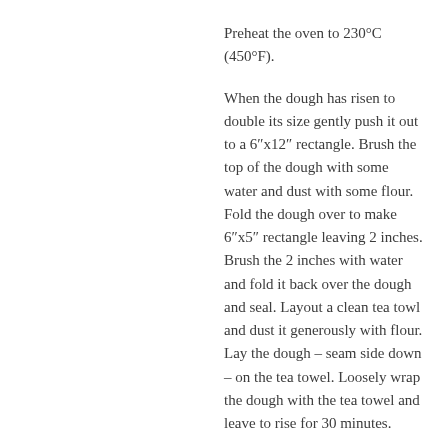Preheat the oven to 230°C (450°F).
When the dough has risen to double its size gently push it out to a 6″x12″ rectangle. Brush the top of the dough with some water and dust with some flour. Fold the dough over to make 6″x5″ rectangle leaving 2 inches. Brush the 2 inches with water and fold it back over the dough and seal. Layout a clean tea towl and dust it generously with flour. Lay the dough – seam side down – on the tea towel. Loosely wrap the dough with the tea towel and leave to rise for 30 minutes.
Unwrap the dough and with a sharp knife divide the dough into approx 6 pieces. Lay the pieces back onto the tea